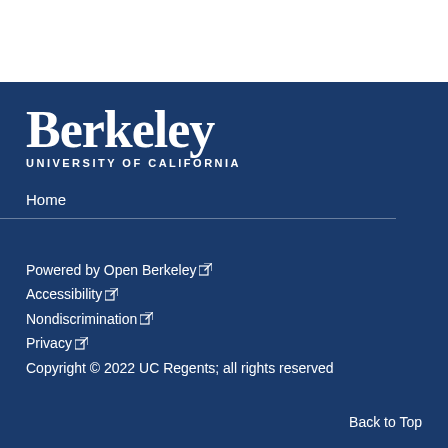[Figure (logo): Berkeley University of California logo — white text on dark blue background]
Home
Powered by Open Berkeley
Accessibility
Nondiscrimination
Privacy
Copyright © 2022 UC Regents; all rights reserved
Back to Top